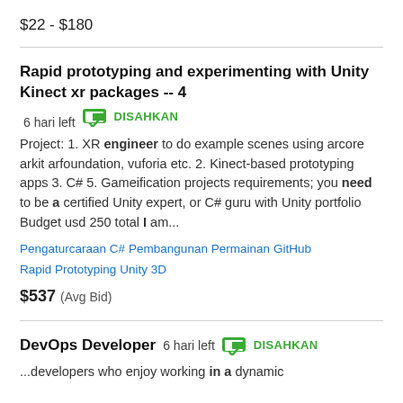$22 - $180
Rapid prototyping and experimenting with Unity Kinect xr packages -- 4  6 hari left  DISAHKAN
Project: 1. XR engineer to do example scenes using arcore arkit arfoundation, vuforia etc. 2. Kinect-based prototyping apps 3. C# 5. Gameification projects requirements; you need to be a certified Unity expert, or C# guru with Unity portfolio Budget usd 250 total I am...
Pengaturcaraan C#
Pembangunan Permainan
GitHub
Rapid Prototyping
Unity 3D
$537  (Avg Bid)
DevOps Developer  6 hari left  DISAHKAN
...developers who enjoy working in a dynamic